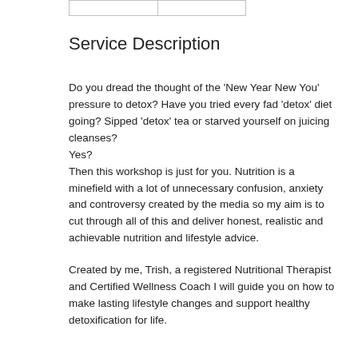|  |
Service Description
Do you dread the thought of the 'New Year New You' pressure to detox? Have you tried every fad 'detox' diet going? Sipped 'detox' tea or starved yourself on juicing cleanses?
Yes?
Then this workshop is just for you. Nutrition is a minefield with a lot of unnecessary confusion, anxiety and controversy created by the media so my aim is to cut through all of this and deliver honest, realistic and achievable nutrition and lifestyle advice.
Created by me, Trish, a registered Nutritional Therapist and Certified Wellness Coach I will guide you on how to make lasting lifestyle changes and support healthy detoxification for life.